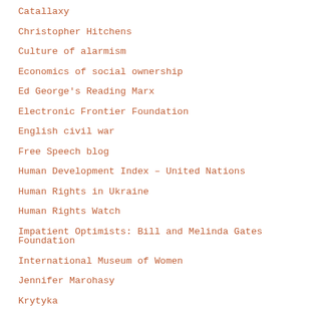Catallaxy
Christopher Hitchens
Culture of alarmism
Economics of social ownership
Ed George's Reading Marx
Electronic Frontier Foundation
English civil war
Free Speech blog
Human Development Index – United Nations
Human Rights in Ukraine
Human Rights Watch
Impatient Optimists: Bill and Melinda Gates Foundation
International Museum of Women
Jennifer Marohasy
Krytyka
Langston Hughes
Magna Carta 800th